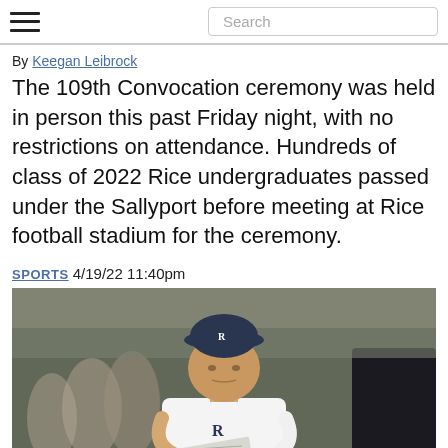[hamburger menu] Search
By Keegan Leibrock
The 109th Convocation ceremony was held in person this past Friday night, with no restrictions on attendance. Hundreds of class of 2022 Rice undergraduates passed under the Sallyport before meeting at Rice football stadium for the ceremony.
SPORTS 4/19/22 11:40pm
[Figure (photo): A man wearing a Rice University cap and white polo shirt with the Rice R logo, holding papers, standing on a football sideline with a blurred crowd in the background.]